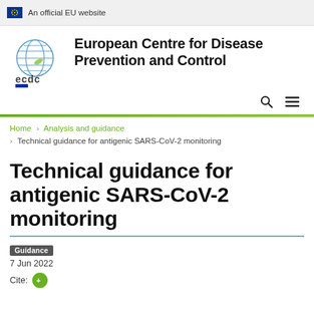An official EU website
[Figure (logo): ECDC European Centre for Disease Prevention and Control logo with globe graphic]
European Centre for Disease Prevention and Control
Home > Analysis and guidance > Technical guidance for antigenic SARS-CoV-2 monitoring
Technical guidance for antigenic SARS-CoV-2 monitoring
Guidance
7 Jun 2022
Cite: